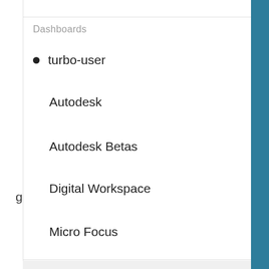Dashboards
turbo-user
Autodesk
Autodesk Betas
Digital Workspace
Micro Focus
Turbo Org
Account Settings